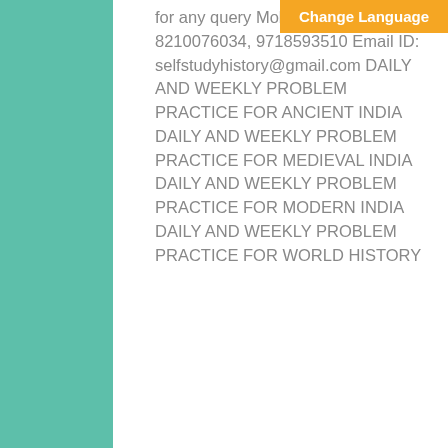[Figure (screenshot): Orange 'Change Language' button in top right corner]
for any query Mobile No. 9...8210076034, 9718593510 Email ID: selfstudyhistory@gmail.com DAILY AND WEEKLY PROBLEM PRACTICE FOR ANCIENT INDIA DAILY AND WEEKLY PROBLEM PRACTICE FOR MEDIEVAL INDIA DAILY AND WEEKLY PROBLEM PRACTICE FOR MODERN INDIA DAILY AND WEEKLY PROBLEM PRACTICE FOR WORLD HISTORY
SELF STUDY HISTORY
0
Advertisements
[Figure (screenshot): DuckDuckGo advertisement banner: 'Search, browse, and email with more privacy. All in One Free App']